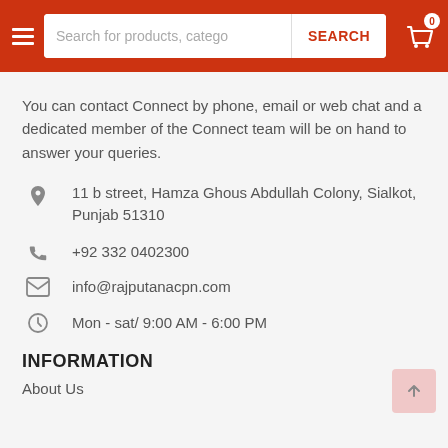Search for products, catego | SEARCH | Cart 0
You can contact Connect by phone, email or web chat and a dedicated member of the Connect team will be on hand to answer your queries.
11 b street, Hamza Ghous Abdullah Colony, Sialkot, Punjab 51310
+92 332 0402300
info@rajputanacpn.com
Mon - sat/ 9:00 AM - 6:00 PM
INFORMATION
About Us